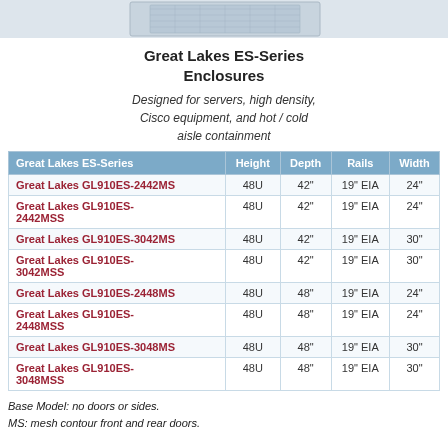[Figure (photo): Partial photo of Great Lakes ES-Series enclosure rack, showing top/angled view on light background]
Great Lakes ES-Series Enclosures
Designed for servers, high density, Cisco equipment, and hot / cold aisle containment
| Great Lakes ES-Series | Height | Depth | Rails | Width |
| --- | --- | --- | --- | --- |
| Great Lakes GL910ES-2442MS | 48U | 42" | 19" EIA | 24" |
| Great Lakes GL910ES-2442MSS | 48U | 42" | 19" EIA | 24" |
| Great Lakes GL910ES-3042MS | 48U | 42" | 19" EIA | 30" |
| Great Lakes GL910ES-3042MSS | 48U | 42" | 19" EIA | 30" |
| Great Lakes GL910ES-2448MS | 48U | 48" | 19" EIA | 24" |
| Great Lakes GL910ES-2448MSS | 48U | 48" | 19" EIA | 24" |
| Great Lakes GL910ES-3048MS | 48U | 48" | 19" EIA | 30" |
| Great Lakes GL910ES-3048MSS | 48U | 48" | 19" EIA | 30" |
Base Model: no doors or sides.
MS: mesh contour front and rear doors.